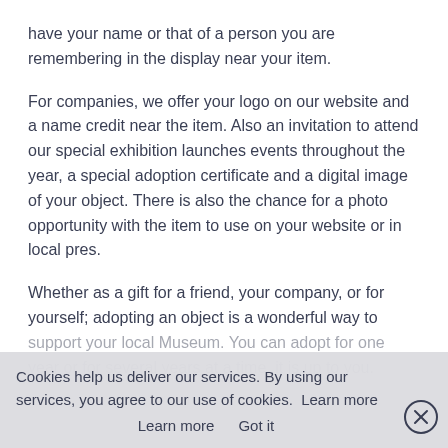have your name or that of a person you are remembering in the display near your item.
For companies, we offer your logo on our website and a name credit near the item. Also an invitation to attend our special exhibition launches events throughout the year, a special adoption certificate and a digital image of your object. There is also the chance for a photo opportunity with the item to use on your website or in local pres.
Whether as a gift for a friend, your company, or for yourself; adopting an object is a wonderful way to support your local Museum. You can adopt for one year or for several years at a time, it is up to you.
Cookies help us deliver our services. By using our services, you agree to our use of cookies. Learn more   Got it